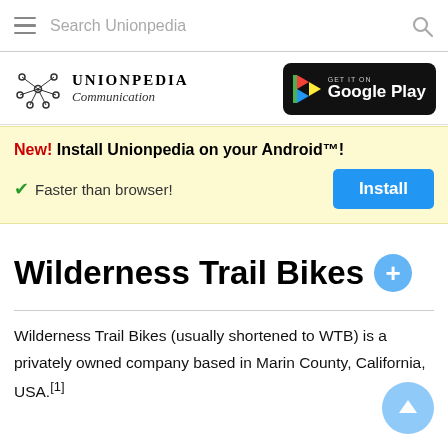Search Unionpedia
[Figure (logo): Unionpedia logo with network graph icon and text 'Unionpedia Communication']
[Figure (logo): Get it on Google Play badge]
New! Install Unionpedia on your Android™! ✔ Faster than browser! [Install button]
Wilderness Trail Bikes
Wilderness Trail Bikes (usually shortened to WTB) is a privately owned company based in Marin County, California, USA.[1]